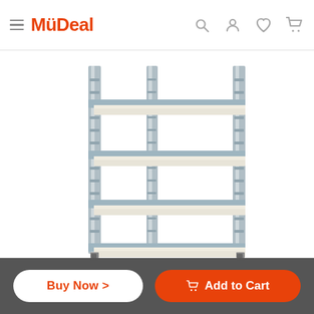MyDeal
[Figure (photo): A metal shelving unit with 4 white particle board shelves and galvanized steel frame, on a white background.]
Buy Now >
Add to Cart